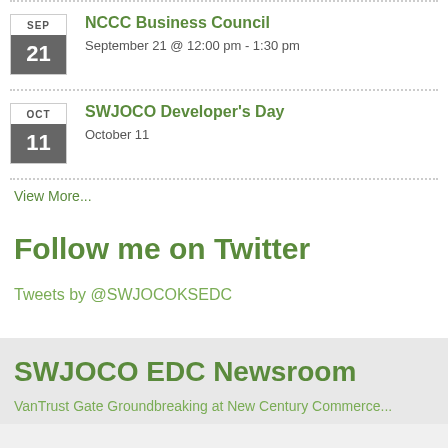NCCC Business Council
September 21 @ 12:00 pm - 1:30 pm
SWJOCO Developer's Day
October 11
View More...
Follow me on Twitter
Tweets by @SWJOCOKSEDC
SWJOCO EDC Newsroom
VanTrust Gate Groundbreaking at New Century Commerce...